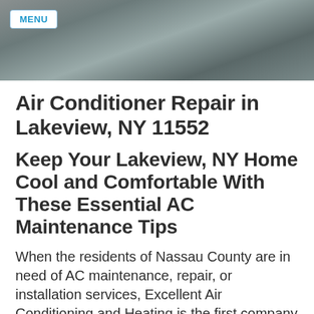[Figure (photo): Hero/banner photo showing HVAC technician working, dark grey/teal toned background image with a MENU button overlay]
Air Conditioner Repair in Lakeview, NY 11552
Keep Your Lakeview, NY Home Cool and Comfortable With These Essential AC Maintenance Tips
When the residents of Nassau County are in need of AC maintenance, repair, or installation services, Excellent Air Conditioning and Heating is the first company